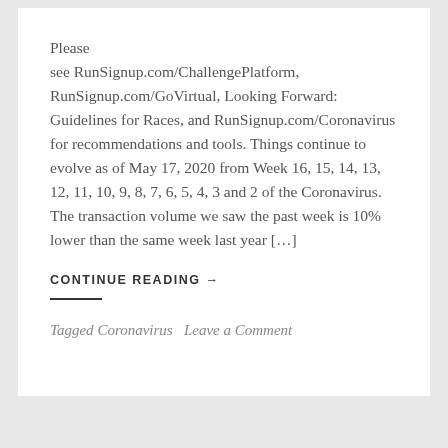Please see RunSignup.com/ChallengePlatform, RunSignup.com/GoVirtual, Looking Forward: Guidelines for Races, and RunSignup.com/Coronavirus for recommendations and tools. Things continue to evolve as of May 17, 2020 from Week 16, 15, 14, 13, 12, 11, 10, 9, 8, 7, 6, 5, 4, 3 and 2 of the Coronavirus. The transaction volume we saw the past week is 10% lower than the same week last year […]
CONTINUE READING →
Tagged Coronavirus   Leave a Comment